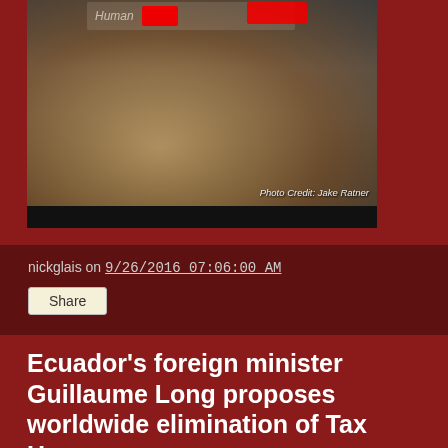[Figure (photo): Protest photo showing a woman holding a sign, with photo credit 'Photo Credit: Jake Ratner']
nickglais on 9/26/2016 07:06:00 AM
Share
Ecuador's foreign minister Guillaume Long proposes worldwide elimination of Tax Havens
[Figure (screenshot): YouTube video thumbnail showing 'Ecuador Proposes...' with TRNN logo and play button, featuring a man in the thumbnail]